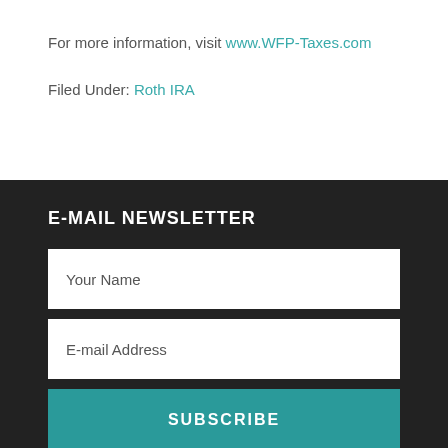For more information, visit www.WFP-Taxes.com
Filed Under: Roth IRA
E-MAIL NEWSLETTER
Your Name
E-mail Address
SUBSCRIBE